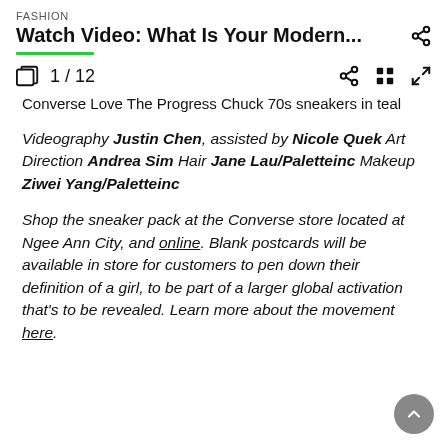FASHION
Watch Video: What Is Your Modern...
1 / 12
Converse Love The Progress Chuck 70s sneakers in teal
Videography Justin Chen, assisted by Nicole Quek Art Direction Andrea Sim Hair Jane Lau/Paletteinc Makeup Ziwei Yang/Paletteinc
Shop the sneaker pack at the Converse store located at Ngee Ann City, and online. Blank postcards will be available in store for customers to pen down their definition of a girl, to be part of a larger global activation that's to be revealed. Learn more about the movement here.